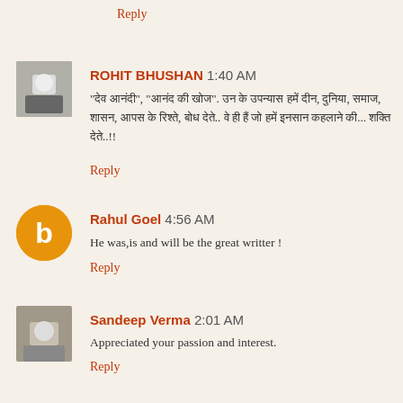Reply
ROHIT BHUSHAN  1:40 AM
"[Hindi text]", "[Hindi text]". [Hindi text] [Hindi text]..!!
Reply
Rahul Goel  4:56 AM
He was,is and will be the great writter !
Reply
Sandeep Verma  2:01 AM
Appreciated your passion and interest.
Reply